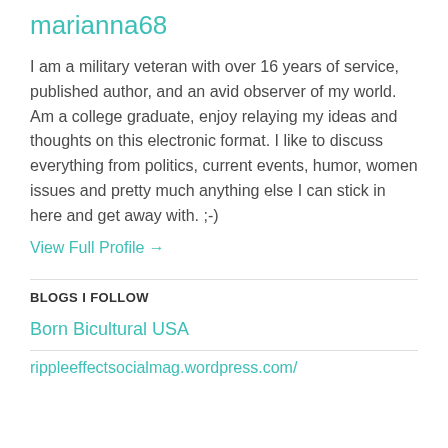marianna68
I am a military veteran with over 16 years of service, published author, and an avid observer of my world. Am a college graduate, enjoy relaying my ideas and thoughts on this electronic format. I like to discuss everything from politics, current events, humor, women issues and pretty much anything else I can stick in here and get away with. ;-)
View Full Profile →
BLOGS I FOLLOW
Born Bicultural USA
rippleeffectsocialmag.wordpress.com/